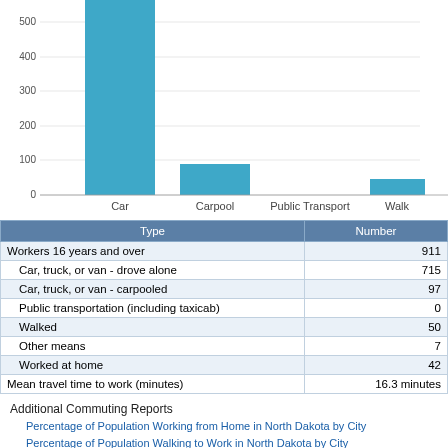[Figure (bar-chart): Commute type bar chart]
| Type | Number |
| --- | --- |
| Workers 16 years and over | 911 |
| Car, truck, or van - drove alone | 715 |
| Car, truck, or van - carpooled | 97 |
| Public transportation (including taxicab) | 0 |
| Walked | 50 |
| Other means | 7 |
| Worked at home | 42 |
| Mean travel time to work (minutes) | 16.3 minutes |
Additional Commuting Reports
Percentage of Population Working from Home in North Dakota by City
Percentage of Population Walking to Work in North Dakota by City
Percentage of Population Taking Public Transit to Work in North Dakota by City